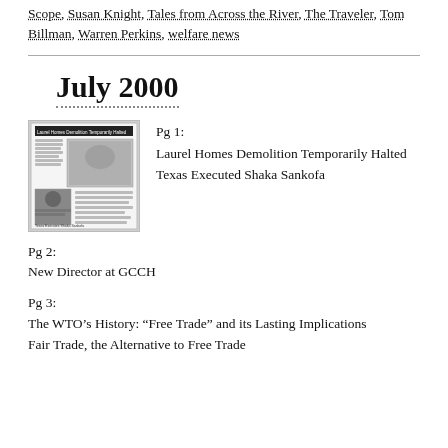Scope, Susan Knight, Tales from Across the River, The Traveler, Tom Billman, Warren Perkins, welfare news
July 2000
[Figure (photo): Thumbnail of a newspaper front page showing 'Laurel Homes Demolition Temporarily Halted' and 'Texas Executes Shaka Sankofa' with a photo of a person]
Pg 1:
Laurel Homes Demolition Temporarily Halted
Texas Executed Shaka Sankofa
Pg 2:
New Director at GCCH
Pg 3:
The WTO’s History: “Free Trade” and its Lasting Implications
Fair Trade, the Alternative to Free Trade